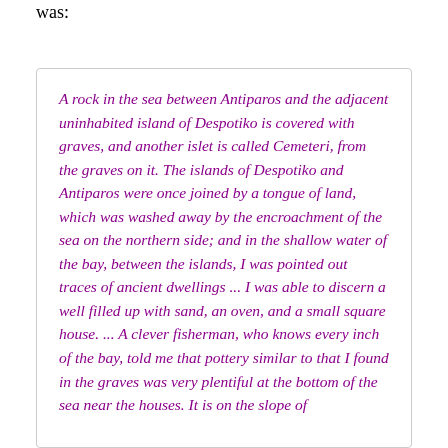was:
A rock in the sea between Antiparos and the adjacent uninhabited island of Despotiko is covered with graves, and another islet is called Cemeteri, from the graves on it. The islands of Despotiko and Antiparos were once joined by a tongue of land, which was washed away by the encroachment of the sea on the northern side; and in the shallow water of the bay, between the islands, I was pointed out traces of ancient dwellings ... I was able to discern a well filled up with sand, an oven, and a small square house. ... A clever fisherman, who knows every inch of the bay, told me that pottery similar to that I found in the graves was very plentiful at the bottom of the sea near the houses. It is on the slope of